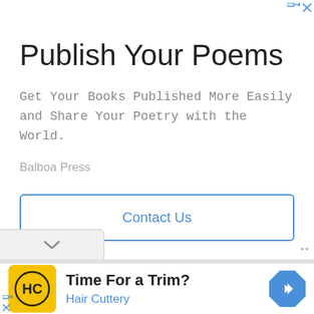[Figure (infographic): Advertisement banner for Balboa Press book publishing service with title 'Publish Your Poems', subtitle text, brand name, and Contact Us button]
Publish Your Poems
Get Your Books Published More Easily and Share Your Poetry with the World.
Balboa Press
Contact Us
[Figure (infographic): Advertisement for Hair Cuttery with logo, 'Time For a Trim?' headline, brand name in blue, and navigation arrow icon]